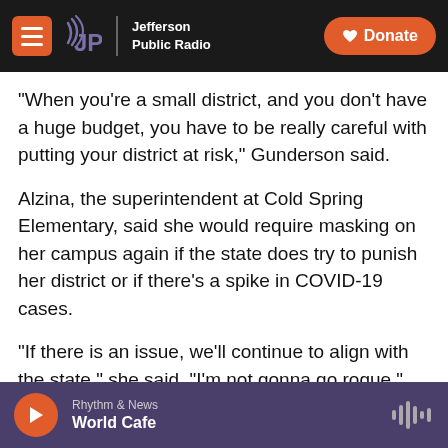JPR Jefferson Public Radio | Donate
“When you’re a small district, and you don’t have a huge budget, you have to be really careful with putting your district at risk,” Gunderson said.
Alzina, the superintendent at Cold Spring Elementary, said she would require masking on her campus again if the state does try to punish her district or if there’s a spike in COVID-19 cases.
“If there is an issue, we’ll continue to align with the state,” she said. “I’m not gonna go rogue.”
CalMatters is a nonprofit, nonpartisan media
Rhythm & News | World Cafe